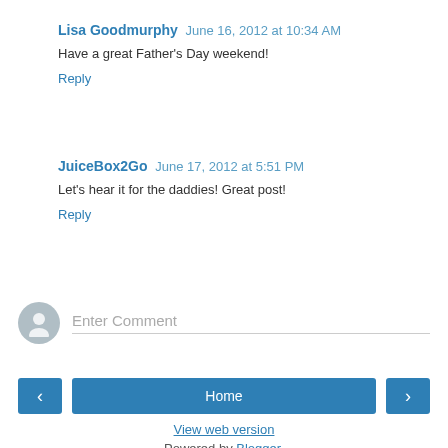Lisa Goodmurphy June 16, 2012 at 10:34 AM
Have a great Father's Day weekend!
Reply
JuiceBox2Go June 17, 2012 at 5:51 PM
Let's hear it for the daddies! Great post!
Reply
Enter Comment
Home
View web version
Powered by Blogger.